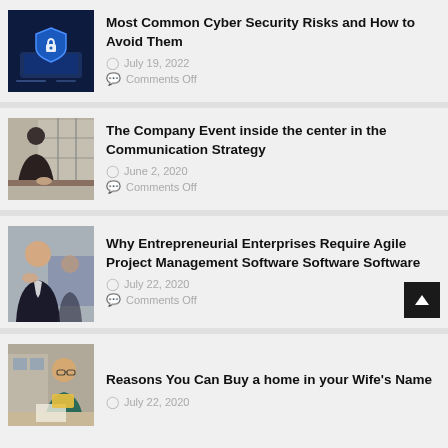[Figure (screenshot): Cyber security themed image with a laptop and shield lock icon on blue background]
Most Common Cyber Security Risks and How to Avoid Them
July 19, 2022
Comments Off
[Figure (photo): Person leaning over a desk in an office environment]
The Company Event inside the center in the Communication Strategy
June 2, 2020
Comments Off
[Figure (photo): Young man in suit sitting thoughtfully in a meeting room]
Why Entrepreneurial Enterprises Require Agile Project Management Software Software Software
July 22, 2020
Comments Off
[Figure (photo): Woman with glasses at a desk looking at documents]
Reasons You Can Buy a home in your Wife's Name
July 22, 2020